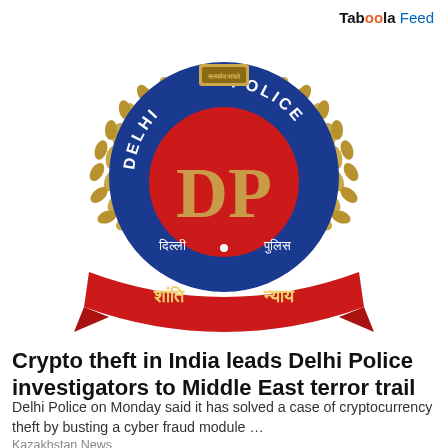Taboola Feed
[Figure (logo): Delhi Police emblem/badge: circular blue badge with a red circle in the center bearing golden DP monogram, surrounded by laurel wreath, with a red ribbon banner at the bottom bearing Hindi text (Shanti and Nyay), and Hindi text on the red banner]
Crypto theft in India leads Delhi Police investigators to Middle East terror trail
Delhi Police on Monday said it has solved a case of cryptocurrency theft by busting a cyber fraud module …
Kazakhstan News